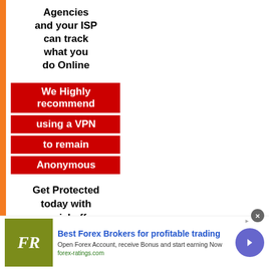Agencies and your ISP can track what you do Online
We Highly recommend using a VPN to remain Anonymous
Get Protected today with special offer
[Figure (infographic): Yellow CTA button with bold black text reading GET 70% OFF NOW]
[Figure (logo): FR logo in olive/green square background]
Best Forex Brokers for profitable trading
Open Forex Account, receive Bonus and start earning Now
forex-ratings.com